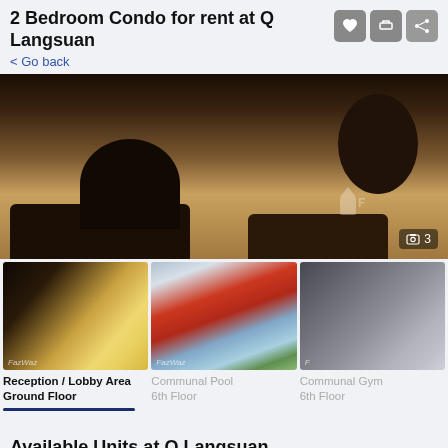2 Bedroom Condo for rent at Q Langsuan
< Go back
[Figure (photo): Interior lobby/reception area of Q Langsuan condo building, showing marble floors, dark wood furniture, and image count indicator showing 3 photos]
[Figure (photo): Reception / Lobby Area Ground Floor - interior lobby with modern furniture and high ceilings]
[Figure (photo): Communal Pool 6th Floor - outdoor infinity pool with palm trees and city skyline]
[Figure (photo): Communal Gym 6th Floor - gym with exercise equipment]
Reception / Lobby Area
Ground Floor
Communal Pool
6th Floor
Communal Gym
6th Floor
Available Units at Q Langsuan
Request Details
Schedule Viewing